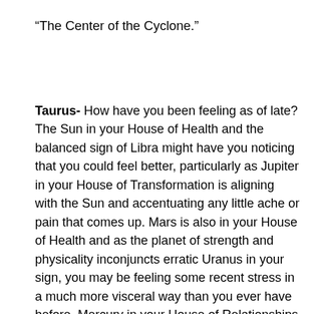“The Center of the Cyclone.”
Taurus- How have you been feeling as of late? The Sun in your House of Health and the balanced sign of Libra might have you noticing that you could feel better, particularly as Jupiter in your House of Transformation is aligning with the Sun and accentuating any little ache or pain that comes up. Mars is also in your House of Health and as the planet of strength and physicality inconjuncts erratic Uranus in your sign, you may be feeling some recent stress in a much more visceral way than you ever have before. Mercury in your House of Relationships aligning with Pluto in your House of Philosophy could indicate that this stress is the result of something bubbling under the surface in a relationship with someone close. Look around in your life to see if there’s a pink